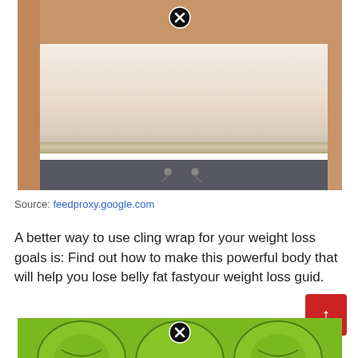[Figure (photo): Photo of a person's midsection wrapped in cling wrap/bandage around the belly area, wearing dark grey sweatpants. A close button (X circle) appears at the top center of the image.]
Source: feedproxy.google.com
A better way to use cling wrap for your weight loss goals is: Find out how to make this powerful body that will help you lose belly fat fastyour weight loss guid.
[Figure (illustration): Partial view of a green cartoon illustration at the bottom of the page, with a close button (X circle) at the top center of the image.]